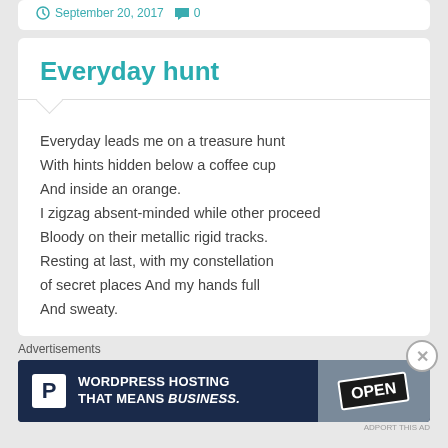September 20, 2017   0
Everyday hunt
Everyday leads me on a treasure hunt
With hints hidden below a coffee cup
And inside an orange.
I zigzag absent-minded while other proceed
Bloody on their metallic rigid tracks.
Resting at last, with my constellation
of secret places And my hands full
And sweaty.
Advertisements
[Figure (other): Advertisement banner: WordPress Hosting That Means Business, with P logo and OPEN sign image]